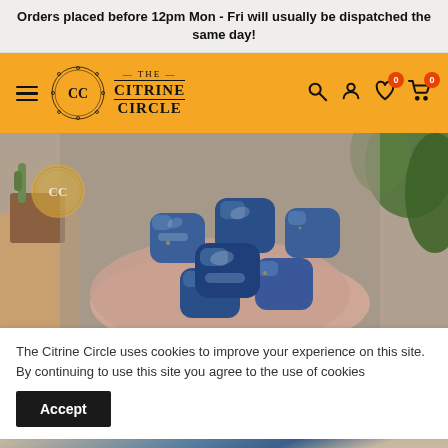Orders placed before 12pm Mon - Fri will usually be dispatched the same day!
[Figure (logo): The Citrine Circle logo with CC monogram in decorative circle and navigation bar with hamburger menu, search, account, wishlist (0), and cart (0) icons on orange background]
[Figure (photo): Close-up photo of a hand holding multiple blue lapis lazuli tumbled stones with plants and terracotta pot in background, with CC watermark logo]
The Citrine Circle uses cookies to improve your experience on this site. By continuing to use this site you agree to the use of cookies
Accept